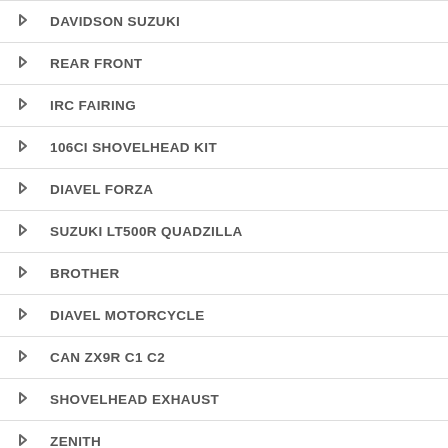DAVIDSON SUZUKI
REAR FRONT
IRC FAIRING
106CI SHOVELHEAD KIT
DIAVEL FORZA
SUZUKI LT500R QUADZILLA
BROTHER
DIAVEL MOTORCYCLE
CAN ZX9R C1 C2
SHOVELHEAD EXHAUST
ZENITH